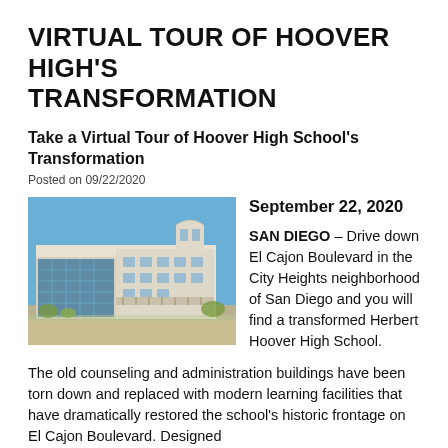VIRTUAL TOUR OF HOOVER HIGH'S TRANSFORMATION
Take a Virtual Tour of Hoover High School's Transformation
Posted on 09/22/2020
[Figure (photo): Photo of Herbert Hoover High School building exterior showing modern white multi-story structure with large windows against a blue sky]
September 22, 2020

SAN DIEGO – Drive down El Cajon Boulevard in the City Heights neighborhood of San Diego and you will find a transformed Herbert Hoover High School.
The old counseling and administration buildings have been torn down and replaced with modern learning facilities that have dramatically restored the school's historic frontage on El Cajon Boulevard. Designed